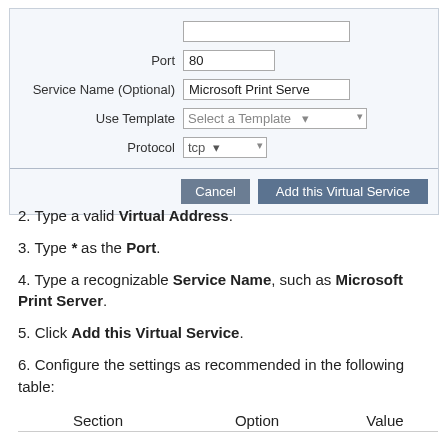[Figure (screenshot): Web form screenshot showing fields: Port (value 80), Service Name (Optional) (value 'Microsoft Print Serve'), Use Template (dropdown 'Select a Template'), Protocol (dropdown 'tcp'). Below a divider are Cancel and 'Add this Virtual Service' buttons.]
2. Type a valid Virtual Address.
3. Type * as the Port.
4. Type a recognizable Service Name, such as Microsoft Print Server.
5. Click Add this Virtual Service.
6. Configure the settings as recommended in the following table:
| Section | Option | Value |
| --- | --- | --- |
|  |  |  |